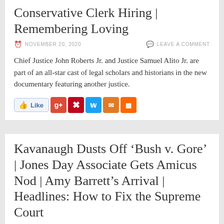Conservative Clerk Hiring | Remembering Loving
NOVEMBER 20, 2020
LEAVE A COMMENT
Chief Justice John Roberts Jr. and Justice Samuel Alito Jr. are part of an all-star cast of legal scholars and historians in the new documentary featuring another justice.
[Figure (other): Social sharing buttons: Like, Google+, Pinterest, Twitter, Email, RSS]
Kavanaugh Dusts Off ‘Bush v. Gore’ | Jones Day Associate Gets Amicus Nod | Amy Barrett’s Arrival | Headlines: How to Fix the Supreme Court
NOVEMBER 20, 2020
LEAVE A COMMENT